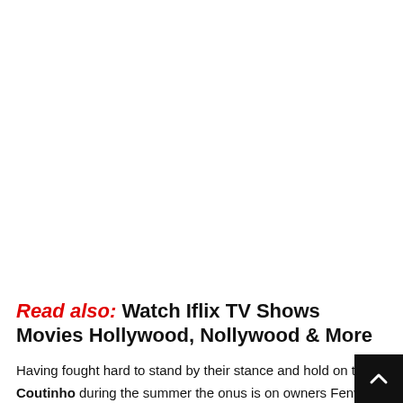Read also: Watch Iflix TV Shows Movies Hollywood, Nollywood & More
Having fought hard to stand by their stance and hold on to Coutinho during the summer the onus is on owners Fenway